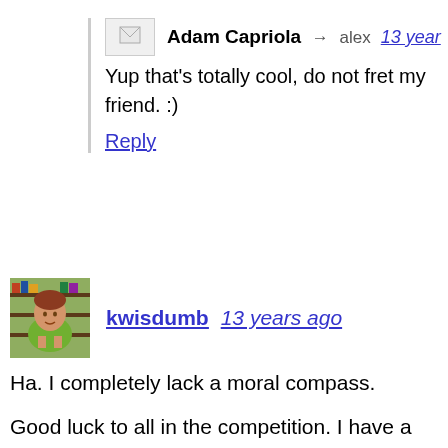[Figure (other): Small avatar placeholder icon for Adam Capriola comment]
Adam Capriola → alex  13 year…
Yup that's totally cool, do not fret my friend. :)
Reply
[Figure (photo): Profile photo of kwisdumb - person in green shirt]
kwisdumb  13 years ago
Ha. I completely lack a moral compass.
Good luck to all in the competition. I have a feeling in the next few weeks it's